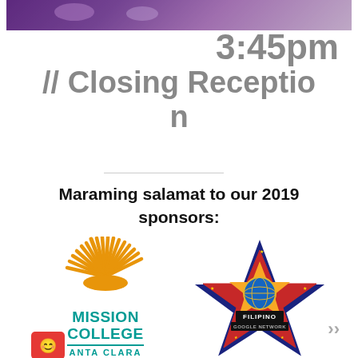[Figure (photo): Purple/dark banner image at top of page showing people in background]
3:45pm // Closing Reception
Maraming salamat to our 2019 sponsors:
[Figure (logo): Mission College Santa Clara logo with orange sunburst and teal text]
[Figure (logo): Filipino Google Network logo with star badge design in blue, red, yellow]